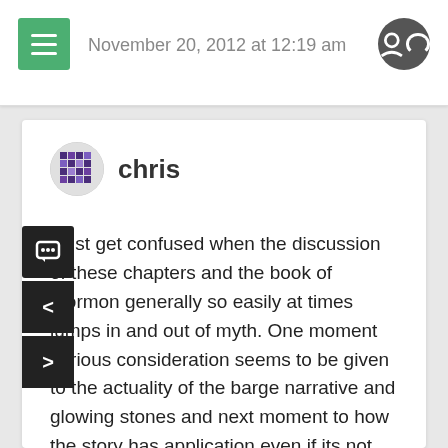November 20, 2012 at 12:19 am
chris
I just get confused when the discussion of these chapters and the book of mormon generally so easily at times jumps in and out of myth. One moment serious consideration seems to be given to the actuality of the barge narrative and glowing stones and next moment to how the story has application even if its not literal. Can the hesitancy to call the story of the Jaradites mythology stem from some uncertainty that Joseph may have described real events? I admit to being in awe